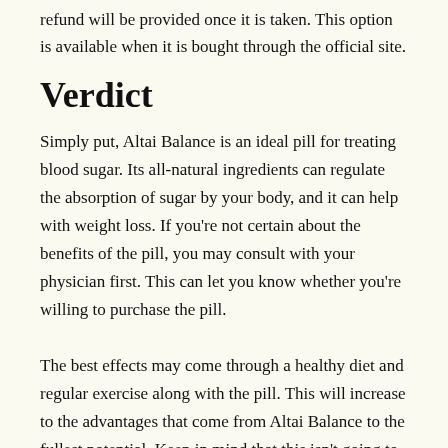refund will be provided once it is taken. This option is available when it is bought through the official site.
Verdict
Simply put, Altai Balance is an ideal pill for treating blood sugar. Its all-natural ingredients can regulate the absorption of sugar by your body, and it can help with weight loss. If you're not certain about the benefits of the pill, you may consult with your physician first. This can let you know whether you're willing to purchase the pill.
The best effects may come through a healthy diet and regular exercise along with the pill. This will increase to the advantages that come from Altai Balance to the fullest potential. Keep in mind that this isn't going to get rid off diabetes completely; it will only regulate it. Altai Balance can be the supplement for all things blood sugar and diabetes related.